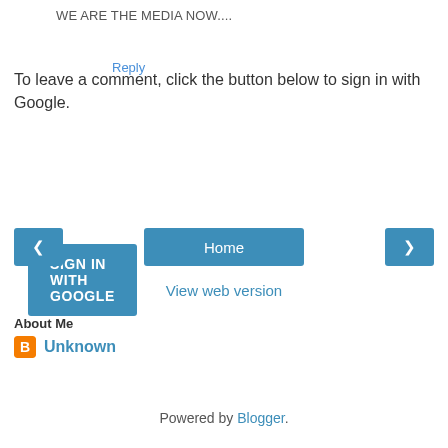WE ARE THE MEDIA NOW....
Reply
To leave a comment, click the button below to sign in with Google.
[Figure (other): Blue 'SIGN IN WITH GOOGLE' button]
[Figure (other): Navigation bar with left arrow, Home button, and right arrow]
View web version
About Me
Unknown
View my complete profile
Powered by Blogger.